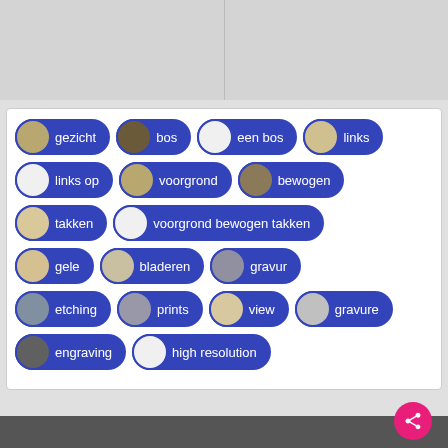[Figure (screenshot): Two gray placeholder image panels side by side at the top]
[Figure (infographic): Tag cloud / keyword chips with thumbnail images, each chip shows a circular thumbnail and a blue pill-shaped label. Tags: gezicht, bos, een bos, links, links op, voorgrond, bewogen, takken, voorgrond bewogen takken, gele, bladeren, gravur, etching, prints, view, gravure, engraving, high resolution]